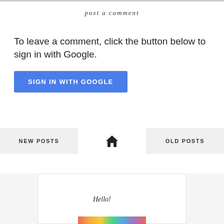post a comment
To leave a comment, click the button below to sign in with Google.
SIGN IN WITH GOOGLE
NEW POSTS
[Figure (other): Home icon (house symbol)]
OLD POSTS
[Figure (screenshot): Blog preview panel showing 'Hello!' title and a colorful image strip at the bottom]